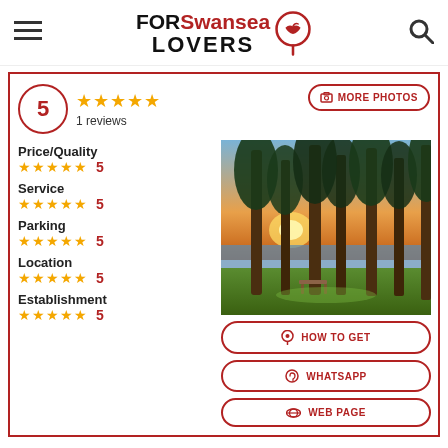FOR Swansea LOVERS
5
1 reviews
[Figure (photo): Sunset through tall pine trees by a lakeside with green grass and a bench in foreground]
MORE PHOTOS
Price/Quality
★★★★★ 5
Service
★★★★★ 5
Parking
★★★★★ 5
Location
★★★★★ 5
Establishment
★★★★★ 5
HOW TO GET
WHATSAPP
WEB PAGE